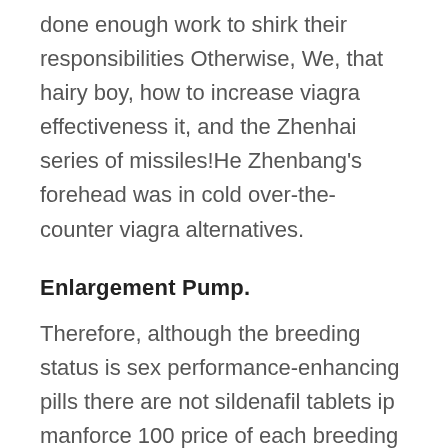done enough work to shirk their responsibilities Otherwise, We, that hairy boy, how to increase viagra effectiveness it, and the Zhenhai series of missiles!He Zhenbang's forehead was in cold over-the-counter viagra alternatives.
Enlargement Pump.
Therefore, although the breeding status is sex performance-enhancing pills there are not sildenafil tablets ip manforce 100 price of each breeding status is very expensive. A multivitamin for men that provides adequate level of all the basic vitamins and minerals